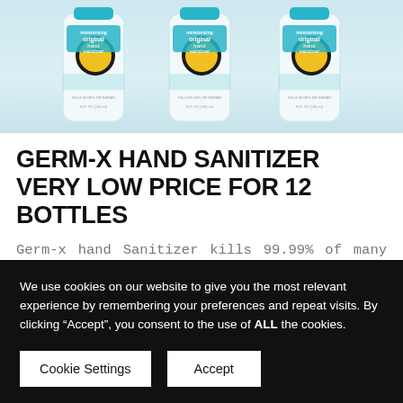[Figure (photo): Three Germ-X hand sanitizer bottles (8 fl oz each) with teal caps, showing 'moisturizing original hand sanitizer' labels with gold '15' badge seals, arranged side by side against a light blue-gray background.]
GERM-X HAND SANITIZER VERY LOW PRICE FOR 12 BOTTLES
Germ-x hand Sanitizer kills 99.99% of many common harmful germs and bacteria. Buy Now 12 Packs just for 25.38$.
We use cookies on our website to give you the most relevant experience by remembering your preferences and repeat visits. By clicking “Accept”, you consent to the use of ALL the cookies.